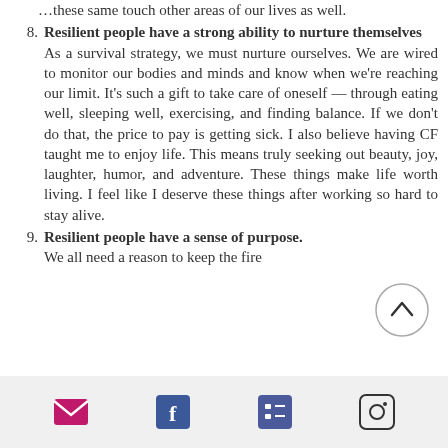these same touch other areas of our lives as well.
8. Resilient people have a strong ability to nurture themselves
As a survival strategy, we must nurture ourselves. We are wired to monitor our bodies and minds and know when we're reaching our limit. It's such a gift to take care of oneself — through eating well, sleeping well, exercising, and finding balance. If we don't do that, the price to pay is getting sick. I also believe having CF taught me to enjoy life. This means truly seeking out beauty, joy, laughter, humor, and adventure. These things make life worth living. I feel like I deserve these things after working so hard to stay alive.
9. Resilient people have a sense of purpose.
We all need a reason to keep the fire